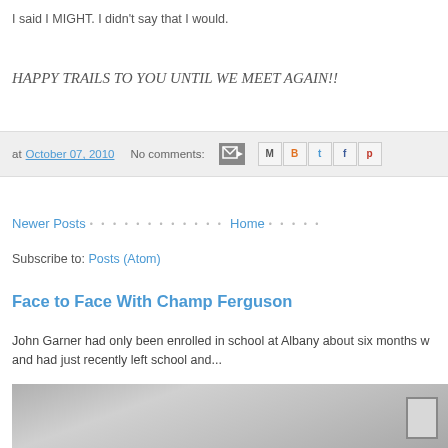I said I MIGHT. I didn't say that I would.
HAPPY TRAILS TO YOU UNTIL WE MEET AGAIN!!
at October 07, 2010  No comments:
Newer Posts   Home
Subscribe to: Posts (Atom)
Face to Face With Champ Ferguson
John Garner had only been enrolled in school at Albany about six months w and had just recently left school and...
[Figure (photo): Black and white historical photograph of a building exterior]